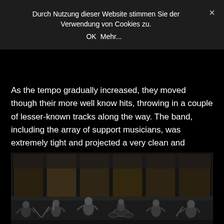Durch Nutzung dieser Website stimmen Sie der Verwendung von Cookies zu.
OK   Mehr...
As the tempo gradually increased, they moved though their more well know hits, throwing in a couple of lesser-known tracks along the way. The band, including the array of support musicians, was extremely tight and projected a very clean and controlled sound into the acoustically barren Hallenstadion. The backdrop projection and lights were subtle, and obviously designed not to take too much focus away from the music, which worked well.
[Figure (photo): Concert photo showing a band performing on stage with large backdrop projection panels displaying a dark landscape/earth texture. Multiple musicians visible including guitarists and a drummer, performing in a dimly lit venue.]